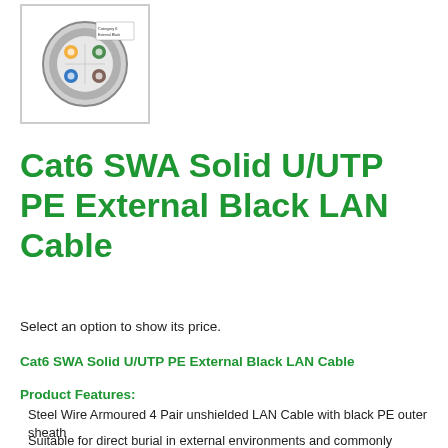[Figure (illustration): Thumbnail image of Cat6 SWA cable cross-section showing twisted pairs inside a circular armoured sheath, with a black and white label visible.]
Cat6 SWA Solid U/UTP PE External Black LAN Cable
Select an option to show its price.
Cat6 SWA Solid U/UTP PE External Black LAN Cable
Product Features:
Steel Wire Armoured 4 Pair unshielded LAN Cable with black PE outer sheath
Suitable for direct burial in external environments and commonly referred to as duct grade
Ideal for Gigabit Ethernet applications
Exceeds requirements of TIA and ISO Category 6 performance